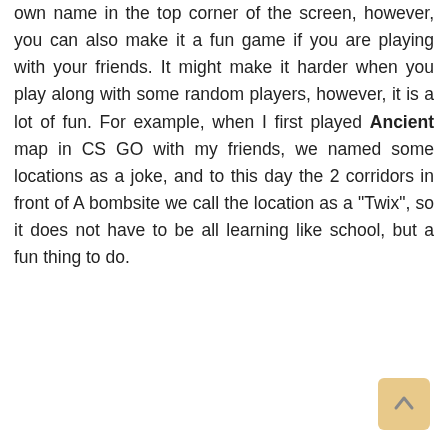own name in the top corner of the screen, however, you can also make it a fun game if you are playing with your friends. It might make it harder when you play along with some random players, however, it is a lot of fun. For example, when I first played Ancient map in CS GO with my friends, we named some locations as a joke, and to this day the 2 corridors in front of A bombsite we call the location as a "Twix", so it does not have to be all learning like school, but a fun thing to do.
[Figure (other): Scroll-to-top button with upward arrow, tan/gold colored rounded square in bottom-right corner]